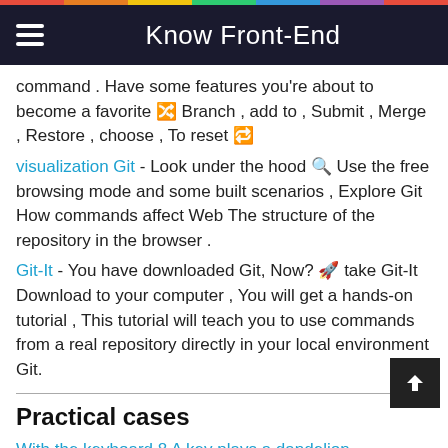Know Front-End
command . Have some features you're about to become a favorite 🔀 Branch , add to , Submit , Merge , Restore , choose , To reset 🔁
visualization Git - Look under the hood 🔍 Use the free browsing mode and some built scenarios , Explore Git How commands affect Web The structure of the repository in the browser .
Git-It - You have downloaded Git, Now? 🚀 take Git-It Download to your computer , You will get a hands-on tutorial , This tutorial will teach you to use commands from a real repository directly in your local environment Git.
Practical cases
With the keyboard 8 A key plays a dandelion agreement to myself or the moon to her on behalf of my heart
be based on Vue3.0 Composition Api Build real projects quickly